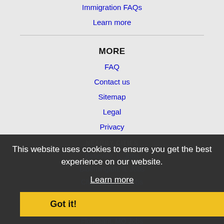Immigration FAQs
Learn more
MORE
FAQ
Contact us
Sitemap
Legal
Privacy
NEARBY CITIES
Belleville, IL Jobs
Bloomington, IL Jobs
Champaign, IL Jobs
Chesterfield, MO Jobs
Decatur, IL Jobs
Florissant, MO Jobs
This website uses cookies to ensure you get the best experience on our website.
Learn more
Got it!